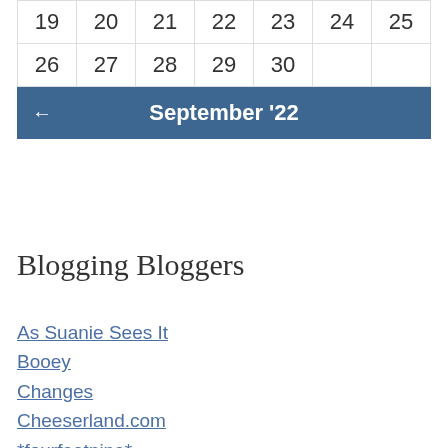| 19 | 20 | 21 | 22 | 23 | 24 | 25 |
| 26 | 27 | 28 | 29 | 30 |  |  |
| ← September '22 |
Blogging Bloggers
As Suanie Sees It
Booey
Changes
Cheeserland.com
*fourfeetnine*
joshuaongys
K A K I B A S I K A L . C O M
KennySia.com
kyspeaks.com
LiewCF.com
Life In The Mist